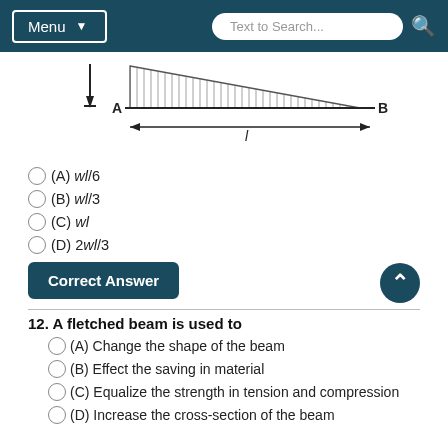Menu | Text to Search...
[Figure (engineering-diagram): Beam diagram showing a triangular distributed load from point A to point B, with a downward arrow at A, the span labeled 'l', and the load hatched above the beam tapering from full height at A to zero at B.]
(A) wl/6
(B) wl/3
(C) wl
(D) 2wl/3
Correct Answer
12. A fletched beam is used to
(A) Change the shape of the beam
(B) Effect the saving in material
(C) Equalize the strength in tension and compression
(D) Increase the cross-section of the beam